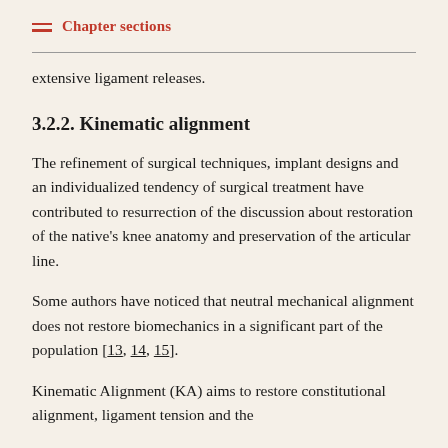Chapter sections
extensive ligament releases.
3.2.2. Kinematic alignment
The refinement of surgical techniques, implant designs and an individualized tendency of surgical treatment have contributed to resurrection of the discussion about restoration of the native's knee anatomy and preservation of the articular line.
Some authors have noticed that neutral mechanical alignment does not restore biomechanics in a significant part of the population [13, 14, 15].
Kinematic Alignment (KA) aims to restore constitutional alignment, ligament tension and the